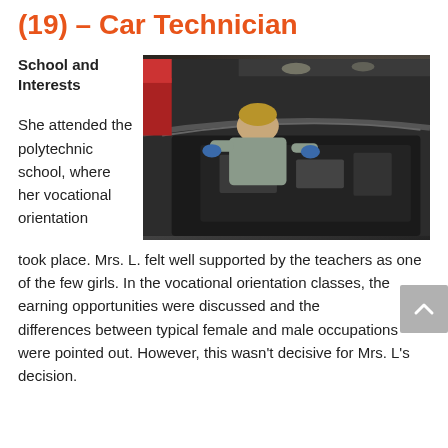(19) – Car Technician
School and Interests
She attended the polytechnic school, where her vocational orientation
[Figure (photo): A young woman working on a car engine in a garage, leaning under the hood wearing blue gloves and work clothes.]
took place. Mrs. L. felt well supported by the teachers as one of the few girls. In the vocational orientation classes, the earning opportunities were discussed and the differences between typical female and male occupations were pointed out. However, this wasn't decisive for Mrs. L's decision.